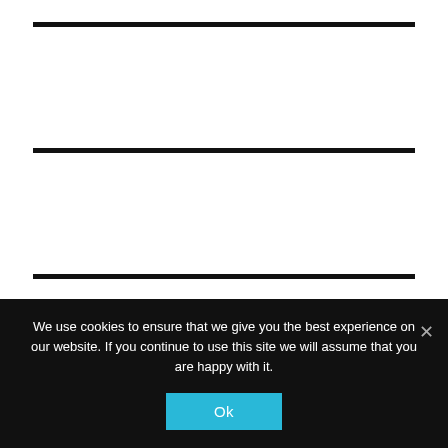[Figure (other): Three horizontal black divider lines on white background, evenly spaced vertically across the upper portion of the page]
We use cookies to ensure that we give you the best experience on our website. If you continue to use this site we will assume that you are happy with it.
Ok